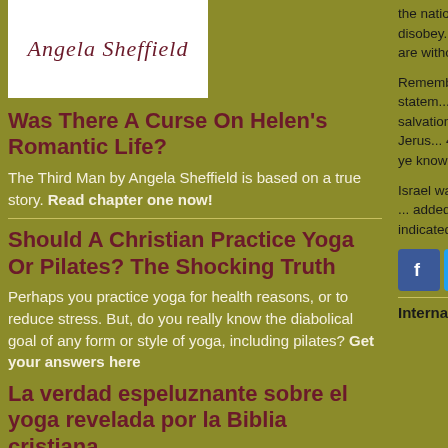[Figure (illustration): Author name 'Angela Sheffield' in cursive italic style on white background box]
Was There A Curse On Helen's Romantic Life?
The Third Man by Angela Sheffield is based on a true story. Read chapter one now!
Should A Christian Practice Yoga Or Pilates? The Shocking Truth
Perhaps you practice yoga for health reasons, or to reduce stress. But, do you really know the diabolical goal of any form or style of yoga, including pilates? Get your answers here
La verdad espeluznante sobre el yoga revelada por la Biblia cristiana
Quizás practiques yoga por motivos de salud o para reducir el estrés. Pero, ¿realmente conoces
the nations the w... that they disobey... election as keep... God are without...
Remember the S... and made statem... dealings with Go... salvation. She to... say that in Jerus... 4:19). Jesus who... worship ye know... salvation is of th...
Israel was charg... believe in Jesus ... added to the Old... haven't indicated... Old or New Tes...
[Figure (infographic): Social media icons: Facebook (blue), Twitter (light blue), LinkedIn (blue)]
International B